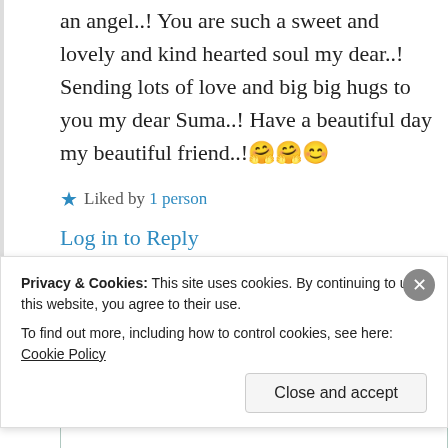an angel..! You are such a sweet and lovely and kind hearted soul my dear..! Sending lots of love and big big hugs to you my dear Suma..! Have a beautiful day my beautiful friend..!🤗🤗😊
★ Liked by 1 person
Log in to Reply
Suma Reddy
Privacy & Cookies: This site uses cookies. By continuing to use this website, you agree to their use. To find out more, including how to control cookies, see here: Cookie Policy
Close and accept